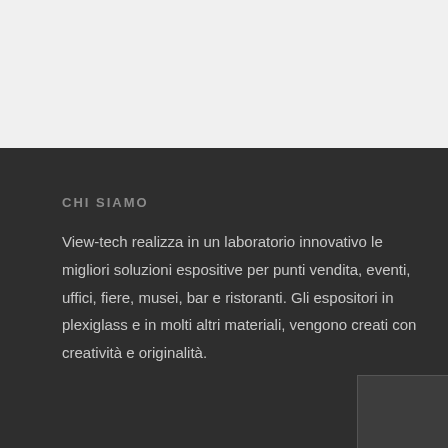CHI SIAMO
View-tech realizza in un laboratorio innovativo le migliori soluzioni espositive per punti vendita, eventi, uffici, fiere, musei, bar e ristoranti. Gli espositori in plexiglass e in molti altri materiali, vengono creati con creatività e originalità.